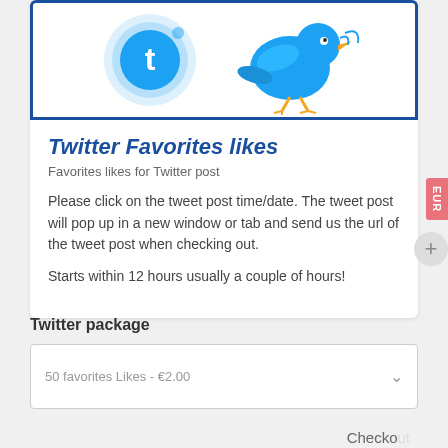[Figure (illustration): Twitter themed banner with Twitter bird logo and cartoon Twitter bird character on a white background with blue border]
Twitter Favorites likes
Favorites likes for Twitter post
Please click on the tweet post time/date. The tweet post will pop up in a new window or tab and send us the url of the tweet post when checking out.
Starts within 12 hours usually a couple of hours!
Twitter package
50 favorites Likes - €2.00